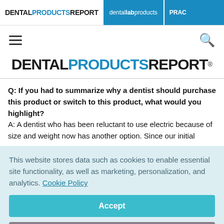DENTAL PRODUCTS REPORT | dental lab products | PRAC
[Figure (logo): Dental Products Report logo with hamburger menu and search icon]
DENTAL PRODUCTS REPORT
Q: If you had to summarize why a dentist should purchase this product or switch to this product, what would you highlight? A: A dentist who has been reluctant to use electric because of size and weight now has another option. Since our initial
This website stores data such as cookies to enable essential site functionality, as well as marketing, personalization, and analytics. Cookie Policy
Accept
Deny